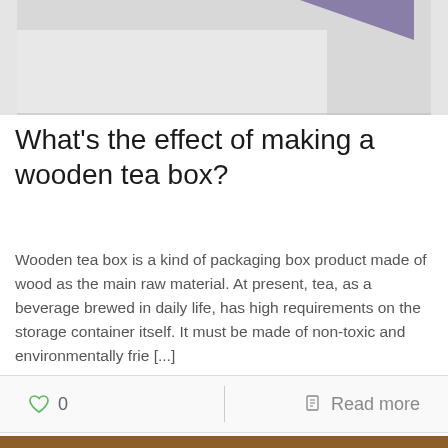[Figure (photo): Partial view of a product or packaging item on a light background, cropped at top]
What's the effect of making a wooden tea box?
Wooden tea box is a kind of packaging box product made of wood as the main raw material. At present, tea, as a beverage brewed in daily life, has high requirements on the storage container itself. It must be made of non-toxic and environmentally frie [...]
[Figure (photo): Orange decorated wooden tea box on a wooden surface, partially visible at bottom of page]